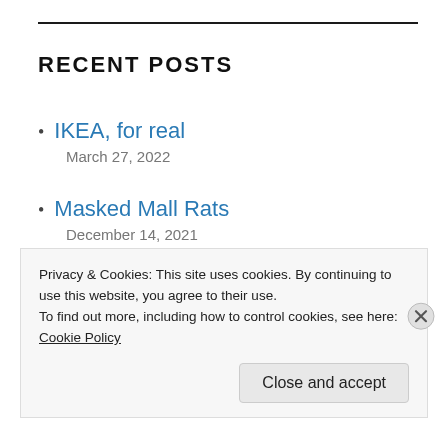RECENT POSTS
IKEA, for real
March 27, 2022
Masked Mall Rats
December 14, 2021
Wistful and happy
December 6, 2021
I Survived November
Privacy & Cookies: This site uses cookies. By continuing to use this website, you agree to their use.
To find out more, including how to control cookies, see here:
Cookie Policy